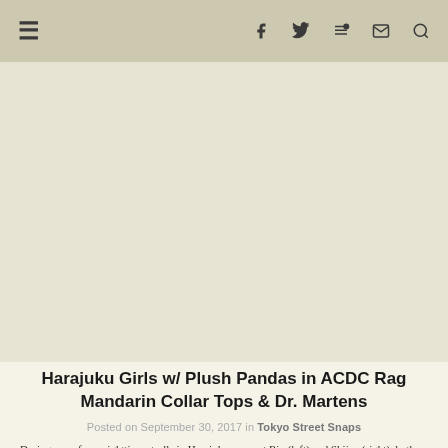≡  f  🐦  ⌬  ✉  🔍
[Figure (photo): Large image placeholder area, light beige/cream background, no visible photo content shown in this crop]
Harajuku Girls w/ Plush Pandas in ACDC Rag Mandarin Collar Tops & Dr. Martens
Posted on September 30, 2017 in Tokyo Street Snaps
During one of our nighttime strolls in Harajuku, we met Rio (left) and Shiina (right), both 20-year-old college students who caught our attention